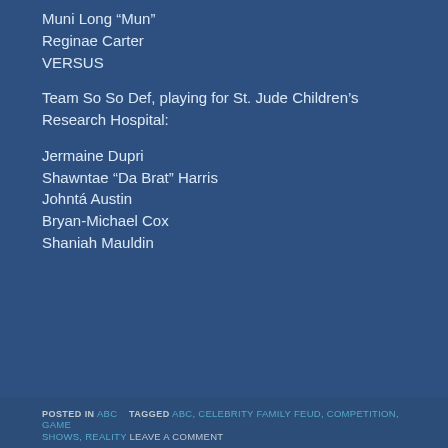Muni Long “Mun”
Reginae Carter
VERSUS
Team So So Def, playing for St. Jude Children’s Research Hospital:
Jermaine Dupri
Shawntae “Da Brat” Harris
Johntá Austin
Bryan-Michael Cox
Shaniah Mauldin
POSTED IN ABC   TAGGED ABC, CELEBRITY FAMILY FEUD, COMPETITION, GAME SHOWS, REALITY   LEAVE A COMMENT